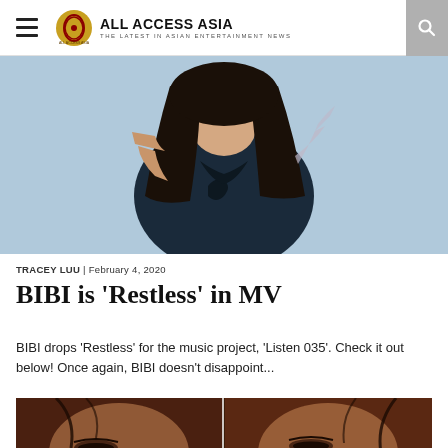ALL ACCESS ASIA — THE LATEST IN ASIAN ENTERTAINMENT NEWS
[Figure (photo): Woman with long dark hair wearing a dark navy sleeveless top, posing against a light blue background. Music video still from BIBI 'Restless'.]
TRACEY LUU | February 4, 2020
BIBI is 'Restless' in MV
BIBI drops 'Restless' for the music project, 'Listen 035'. Check it out below! Once again, BIBI doesn't disappoint...
[Figure (photo): Two side-by-side close-up shots of BIBI's face with warm amber/orange lighting, eyes downcast.]